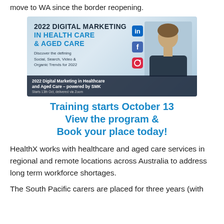move to WA since the border reopening.
[Figure (illustration): Advertisement banner for '2022 Digital Marketing in Health Care & Aged Care' by SMK. Features large bold heading, subtitle 'Discover the defining Social, Search, Video & Organic Trends for 2022', social media icons (LinkedIn, Facebook, Instagram), and a photo of a man. Bottom bar reads '2022 Digital Marketing in Healthcare and Aged Care – powered by SMK. Starts 13th Oct, delivered via Zoom.']
Training starts October 13
View the program &
Book your place today!
HealthX works with healthcare and aged care services in regional and remote locations across Australia to address long term workforce shortages.
The South Pacific carers are placed for three years (with